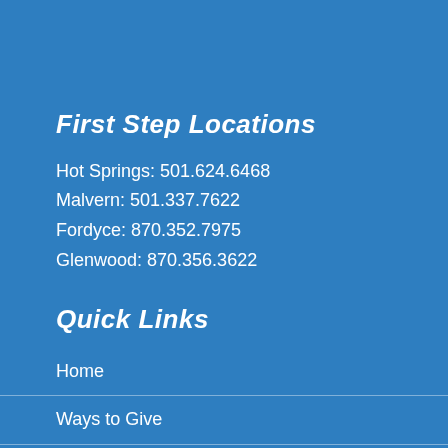First Step Locations
Hot Springs: 501.624.6468
Malvern: 501.337.7622
Fordyce: 870.352.7975
Glenwood: 870.356.3622
Quick Links
Home
Ways to Give
About First Step
Calendar
First Step Jobs